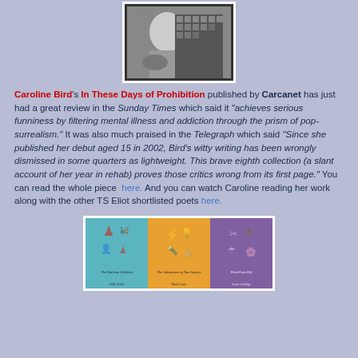[Figure (photo): Black and white portrait photo of Caroline Bird with white border]
Caroline Bird's In These Days of Prohibition published by Carcanet has just had a great review in the Sunday Times which said it "achieves serious funniness by filtering mental illness and addiction through the prism of pop-surrealism." It was also much praised in the Telegraph which said "Since she published her debut aged 15 in 2002, Bird's witty writing has been wrongly dismissed in some quarters as lightweight. This brave eighth collection (a slant account of her year in rehab) proves those critics wrong from its first page." You can read the whole piece here. And you can watch Caroline reading her work along with the other TS Eliot shortlisted poets here.
[Figure (photo): Three book covers side by side: The Railway Children (teal), The Adventures of Tom Sawyer (orange), and What Katy Did (purple), each featuring illustrated icons]